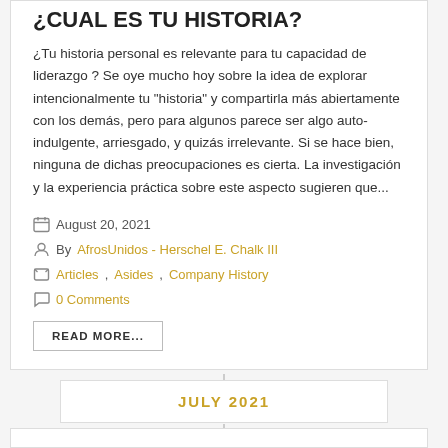¿CUAL ES TU HISTORIA?
¿Tu historia personal es relevante para tu capacidad de liderazgo ? Se oye mucho hoy sobre la idea de explorar intencionalmente tu "historia" y compartirla más abiertamente con los demás, pero para algunos parece ser algo auto-indulgente, arriesgado, y quizás irrelevante. Si se hace bien, ninguna de dichas preocupaciones es cierta. La investigación y la experiencia práctica sobre este aspecto sugieren que...
August 20, 2021
By AfrosUnidos - Herschel E. Chalk III
Articles, Asides, Company History
0 Comments
READ MORE...
JULY 2021